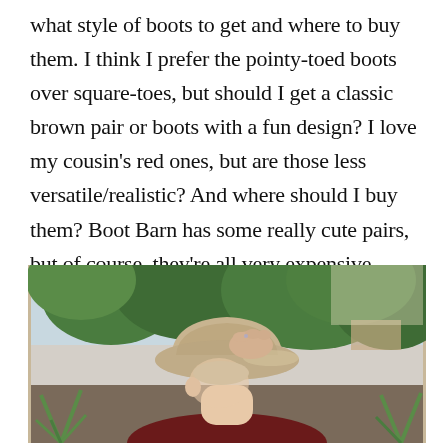what style of boots to get and where to buy them. I think I prefer the pointy-toed boots over square-toes, but should I get a classic brown pair or boots with a fun design? I love my cousin’s red ones, but are those less versatile/realistic? And where should I buy them? Boot Barn has some really cute pairs, but of course, they’re all very expensive... Decisions, decisions.
[Figure (photo): A person holding the brim of a tan/beige cowboy hat, head tilted down, with green trees and agave plants visible in the background outdoors.]